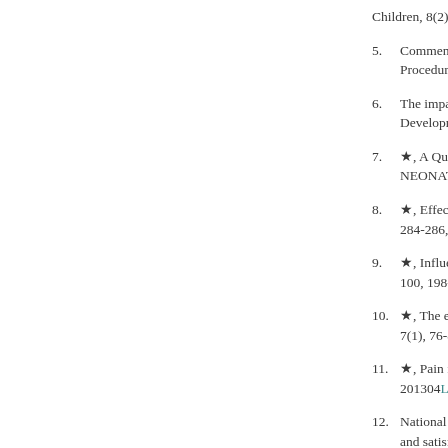Children, 8(2), 58, 2...
5. Commentary: Inter p... Procedures in Newb...
6. The impact of the gu... Development, 2019...
7. ★, A Quality Improv... NEONATAL CARE, ...
8. ★, Effect of gender ... 284-286, 20110101...
9. ★, Influence of repe... 100, 198-203, 2011...
10. ★, The effect of pro... 7(1), 76-83, 201005...
11. ★, Pain manageme... 201304Link to Paper
12. National survey of n... and satisfaction abo...
13. Subsequent Pregna... JOURNAL OF MATE...
14. Development of a N... OF OBSTETRIC GY... by DOI...